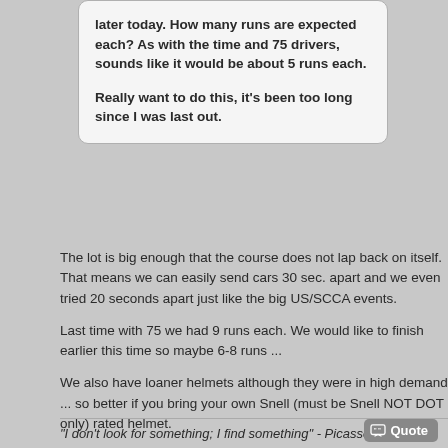... and. How many runs are expected each? As with the time and 75 drivers, sounds like it would be about 5 runs each.

Really want to do this, it's been too long since I was last out.
The lot is big enough that the course does not lap back on itself. That means we can easily send cars 30 sec. apart and we even tried 20 seconds apart just like the big US/SCCA events.
Last time with 75 we had 9 runs each. We would like to finish earlier this time so maybe 6-8 runs ...
We also have loaner helmets although they were in high demand ... so better if you bring your own Snell (must be Snell NOT DOT only) rated helmet.
Reijo
"I don't look for something; I find something" - Picasso